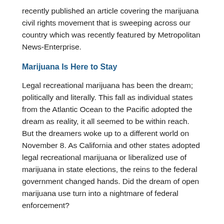recently published an article covering the marijuana civil rights movement that is sweeping across our country which was recently featured by Metropolitan News-Enterprise.
Marijuana Is Here to Stay
Legal recreational marijuana has been the dream; politically and literally. This fall as individual states from the Atlantic Ocean to the Pacific adopted the dream as reality, it all seemed to be within reach. But the dreamers woke up to a different world on November 8. As California and other states adopted legal recreational marijuana or liberalized use of marijuana in state elections, the reins to the federal government changed hands. Did the dream of open marijuana use turn into a nightmare of federal enforcement?